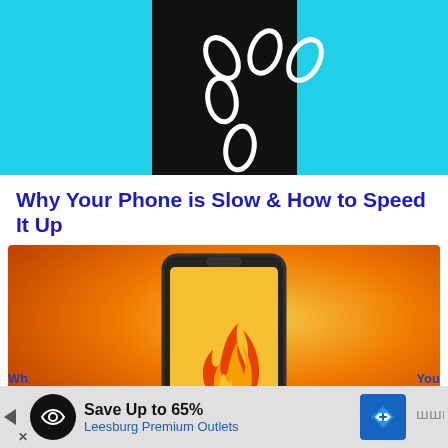[Figure (illustration): App icon or logo on a cyan/light-blue background with a black square in the center containing white pill/oval shapes arranged in a scattered pattern]
Why Your Phone is Slow & How to Speed It Up
[Figure (illustration): Smartphone with a flame/fire icon on screen, set against an orange-to-yellow gradient background suggesting heat]
[Figure (infographic): Advertisement bar: Save Up to 65% - Leesburg Premium Outlets, with navigation arrow icon on right]